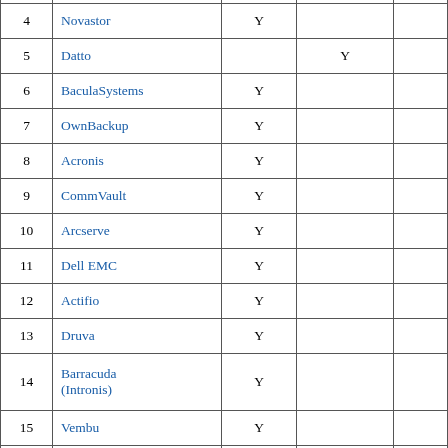| # | Name | Col3 | Col4 | Col5 |
| --- | --- | --- | --- | --- |
| 4 | Novastor | Y |  |  |
| 5 | Datto |  | Y |  |
| 6 | BaculaSystems | Y |  |  |
| 7 | OwnBackup | Y |  |  |
| 8 | Acronis | Y |  |  |
| 9 | CommVault | Y |  |  |
| 10 | Arcserve | Y |  |  |
| 11 | Dell EMC | Y |  |  |
| 12 | Actifio | Y |  |  |
| 13 | Druva | Y |  |  |
| 14 | Barracuda (Intronis) | Y |  |  |
| 15 | Vembu | Y |  |  |
| 16 | Falconstor | Y |  |  |
| 17 | IBM Spectrum Protect | Y |  |  |